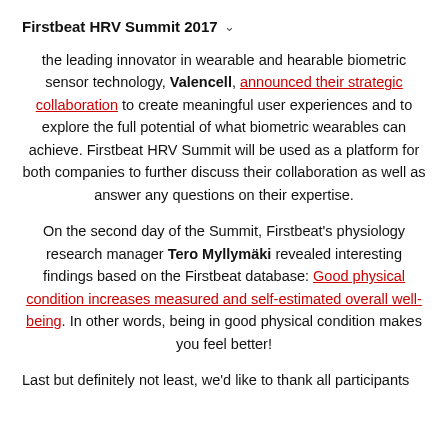Firstbeat HRV Summit 2017
the leading innovator in wearable and hearable biometric sensor technology, Valencell, announced their strategic collaboration to create meaningful user experiences and to explore the full potential of what biometric wearables can achieve. Firstbeat HRV Summit will be used as a platform for both companies to further discuss their collaboration as well as answer any questions on their expertise.
On the second day of the Summit, Firstbeat's physiology research manager Tero Myllymäki revealed interesting findings based on the Firstbeat database: Good physical condition increases measured and self-estimated overall well-being. In other words, being in good physical condition makes you feel better!
Last but definitely not least, we'd like to thank all participants